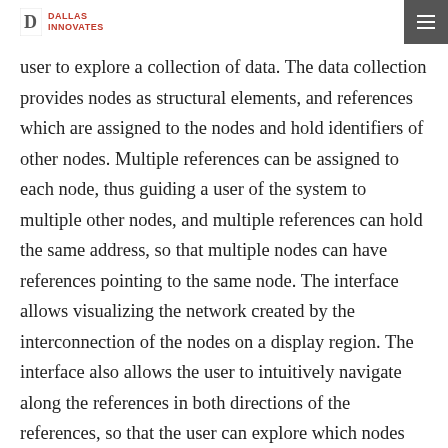DALLAS INNOVATES
user to explore a collection of data. The data collection provides nodes as structural elements, and references which are assigned to the nodes and hold identifiers of other nodes. Multiple references can be assigned to each node, thus guiding a user of the system to multiple other nodes, and multiple references can hold the same address, so that multiple nodes can have references pointing to the same node. The interface allows visualizing the network created by the interconnection of the nodes on a display region. The interface also allows the user to intuitively navigate along the references in both directions of the references, so that the user can explore which nodes are referenced by a certain node, and also by which nodes a certain node is referenced. Electronic documents can be assigned to each node, and the